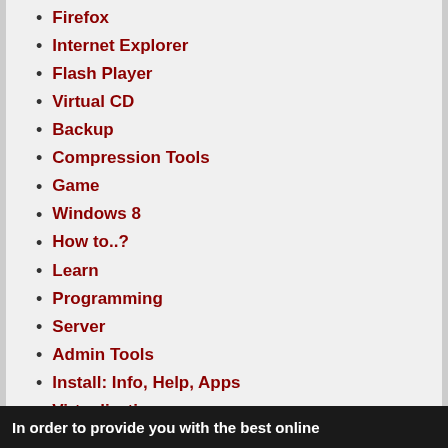Firefox
Internet Explorer
Flash Player
Virtual CD
Backup
Compression Tools
Game
Windows 8
How to..?
Learn
Programming
Server
Admin Tools
Install: Info, Help, Apps
Virtualization
Benchmark
iTunes
Photoshop
PDF
ARM
Apple, Mac, iPhone
Ubuntu
Microsoft
In order to provide you with the best online